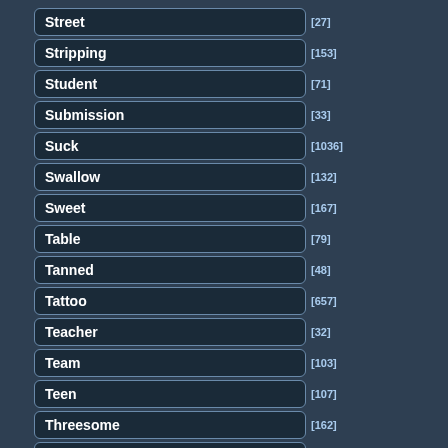Street [27]
Stripping [153]
Student [71]
Submission [33]
Suck [1036]
Swallow [132]
Sweet [167]
Table [79]
Tanned [48]
Tattoo [657]
Teacher [32]
Team [103]
Teen [107]
Threesome [162]
Tied [57]